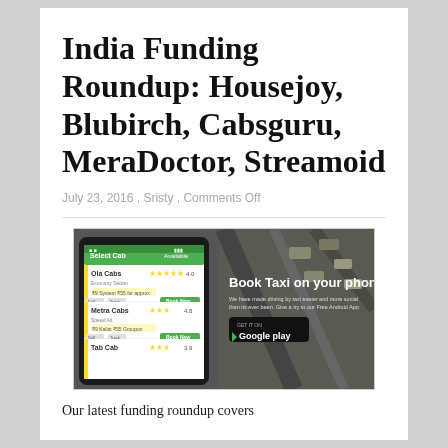India Funding Roundup: Housejoy, Blubirch, Cabsguru, MeraDoctor, Streamoid
July 23, 2016 , Sristy , Comments Off
[Figure (screenshot): Cabsguru app screenshot showing a taxi booking mobile app with 'Book Taxi on your phone' text and Google Play download button, alongside a smartphone displaying the app interface with cab listings and ratings.]
Our latest funding roundup covers